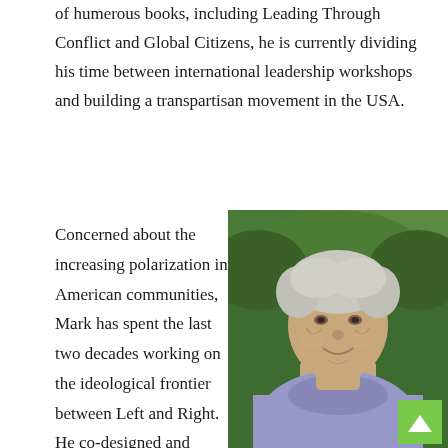of humerous books, including Leading Through Conflict and Global Citizens, he is currently dividing his time between international leadership workshops and building a transpartisan movement in the USA.
Concerned about the increasing polarization in American communities, Mark has spent the last two decades working on the ideological frontier between Left and Right. He co-designed and served as head facilitator for the US Bipartisan Congressional Retreats
[Figure (photo): Portrait photo of an older man with gray hair, smiling, wearing a light purple/lavender long-sleeve shirt, with green leafy background. A green scroll-to-top button is overlaid in the bottom right corner.]